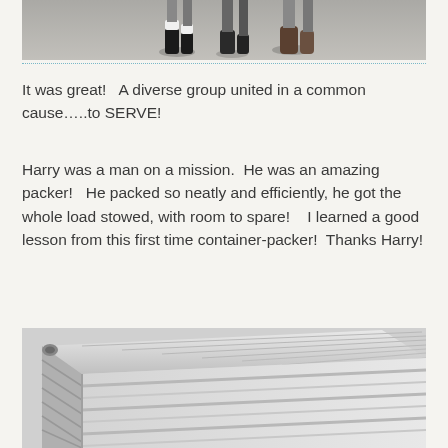[Figure (photo): Top portion of a photo showing people's feet/legs on a pavement surface with shadows]
It was great!   A diverse group united in a common cause…..to SERVE!
Harry was a man on a mission.  He was an amazing packer!   He packed so neatly and efficiently, he got the whole load stowed, with room to spare!    I learned a good lesson from this first time container-packer!  Thanks Harry!
[Figure (photo): Photo of a white shipping container showing its corrugated metal ribbed exterior and corner fittings]